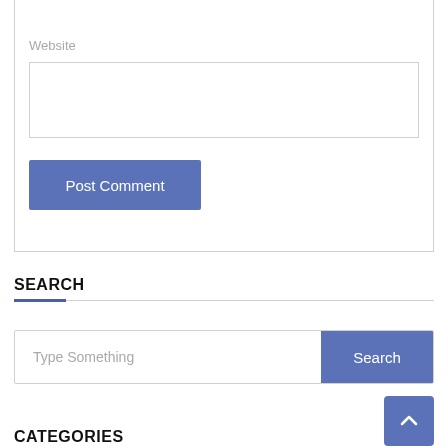Website
[Figure (screenshot): Website form input field (empty text input box)]
[Figure (screenshot): Post Comment button (blue/slate color)]
SEARCH
[Figure (screenshot): Search bar with placeholder text 'Type Something' and a blue Search button]
[Figure (screenshot): Back to top button (blue/slate, up arrow chevron)]
CATEGORIES